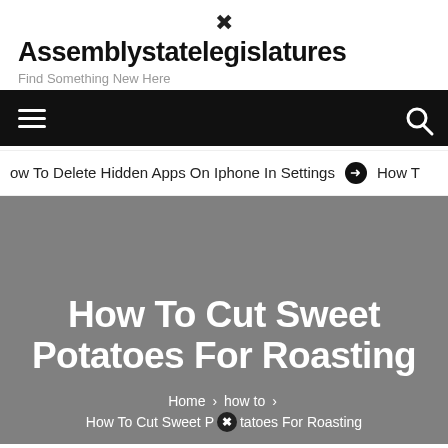Assemblystatelegislatures
Find Something New Here
[Figure (screenshot): Black navigation bar with hamburger menu icon on left and search icon on right]
ow To Delete Hidden Apps On Iphone In Settings  ➔  How T
How To Cut Sweet Potatoes For Roasting
Home > how to > How To Cut Sweet Potatoes For Roasting